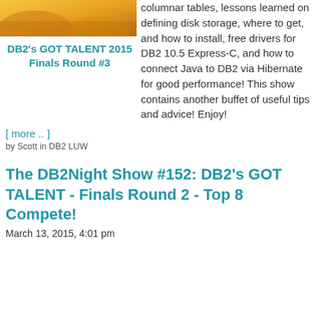[Figure (photo): Thumbnail image showing golden/yellow toned content, partially visible at top]
DB2's GOT TALENT 2015 Finals Round #3
columnar tables, lessons learned on defining disk storage, where to get, and how to install, free drivers for DB2 10.5 Express-C, and how to connect Java to DB2 via Hibernate for good performance! This show contains another buffet of useful tips and advice! Enjoy!
[ more .. ]
by Scott in DB2 LUW
The DB2Night Show #152: DB2's GOT TALENT - Finals Round 2 - Top 8 Compete!
March 13, 2015, 4:01 pm